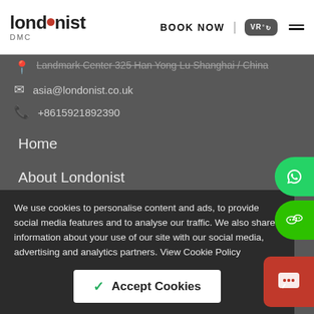[Figure (logo): Londonist DMC logo with red dot in the word 'london']
BOOK NOW
[Figure (other): VR badge icon]
Landmark Center 325 Han Yong Lu Shanghai / China
asia@londonist.co.uk
+8615921892390
Home
About Londonist
All Residences
Student Zone
Latest News
How to book
We use cookies to personalise content and ads, to provide social media features and to analyse our traffic. We also share information about your use of our site with our social media, advertising and analytics partners. View Cookie Policy
Accept Cookies
Covid Care
Londonist Dedication